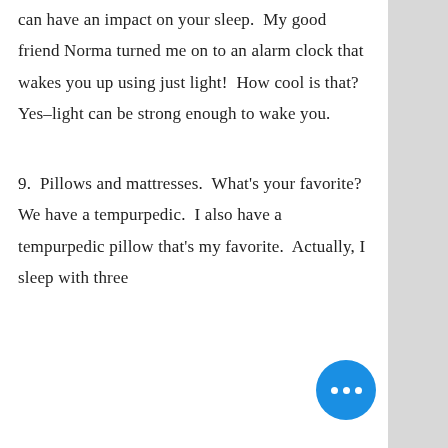Any light (a night light, street lights, etc.) can have an impact on your sleep.  My good friend Norma turned me on to an alarm clock that wakes you up using just light!  How cool is that?  Yes–light can be strong enough to wake you.
9.  Pillows and mattresses.  What's your favorite?  We have a tempurpedic.  I also have a tempurpedic pillow that's my favorite.  Actually, I sleep with three pillows.  I also have a down...